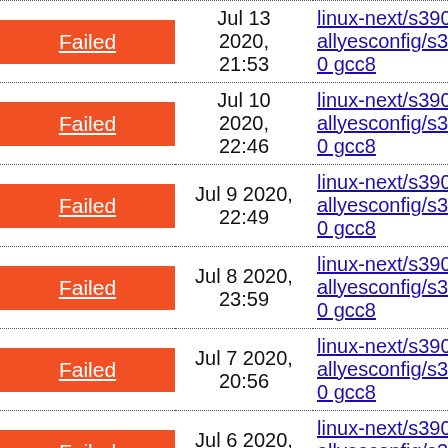| Status | Date | Link |
| --- | --- | --- |
| Failed | Jul 13 2020, 21:53 | linux-next/s390-allyesconfig/s390 gcc8 |
| Failed | Jul 10 2020, 22:46 | linux-next/s390-allyesconfig/s390 gcc8 |
| Failed | Jul 9 2020, 22:49 | linux-next/s390-allyesconfig/s390 gcc8 |
| Failed | Jul 8 2020, 23:59 | linux-next/s390-allyesconfig/s390 gcc8 |
| Failed | Jul 7 2020, 20:56 | linux-next/s390-allyesconfig/s390 gcc8 |
| Failed | Jul 6 2020, 21:35 | linux-next/s390-allyesconfig/s390 gcc8 |
| (partial) |  | linux-next/s390-... |